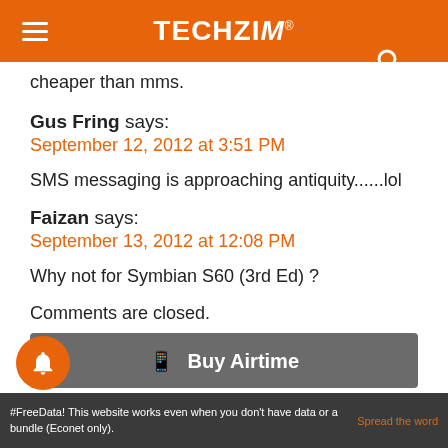TECHZiM
cheaper than mms.
Gus Fring says:
September 12, 2012 at 3:51 PM
SMS messaging is approaching antiquity......lol
Faizan says:
September 13, 2012 at 12:08 PM
Why not for Symbian S60 (3rd Ed) ?
Comments are closed.
[Figure (other): Buy Airtime button bar with phone icon]
#FreeData! This website works even when you don't have data or a bundle (Econet only). Spread the word